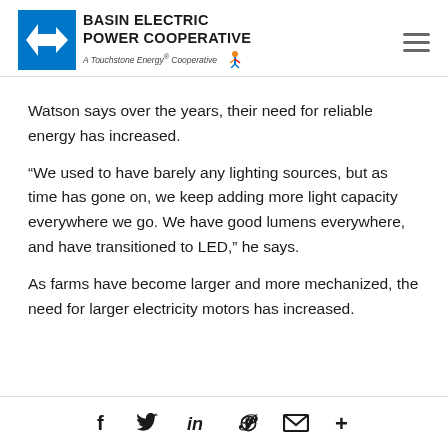BASIN ELECTRIC POWER COOPERATIVE — A Touchstone Energy® Cooperative
Watson says over the years, their need for reliable energy has increased.
“We used to have barely any lighting sources, but as time has gone on, we keep adding more light capacity everywhere we go. We have good lumens everywhere, and have transitioned to LED,” he says.
As farms have become larger and more mechanized, the need for larger electricity motors has increased.
Social share icons: Facebook, Twitter, LinkedIn, Pinterest, Email, More